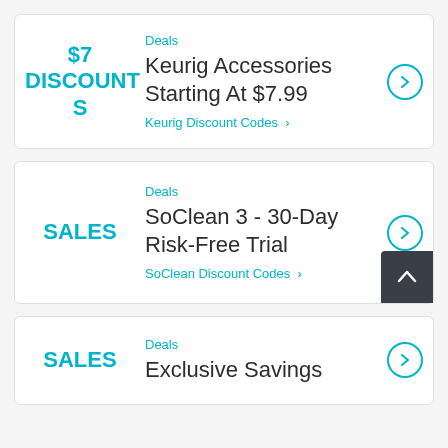$7 DISCOUNTS
Deals
Keurig Accessories Starting At $7.99
Keurig Discount Codes
SALES
Deals
SoClean 3 - 30-Day Risk-Free Trial
SoClean Discount Codes
SALES
Deals
Exclusive Savings